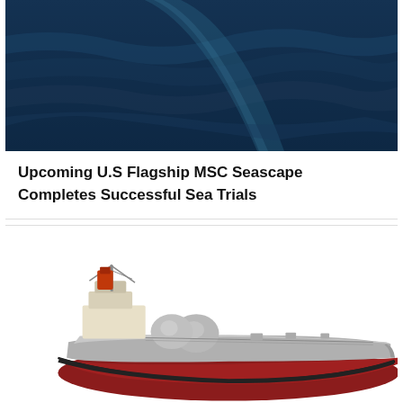[Figure (photo): Aerial view of ocean water with a wake/wave pattern, dark blue sea]
Upcoming U.S Flagship MSC Seascape Completes Successful Sea Trials
[Figure (illustration): 3D rendering/illustration of a large LNG-fueled vessel/tanker ship with red hull, gray deck, and visible LNG storage tanks at the bow, white superstructure]
MOL To Get Six Large LNG-Fueled Vessels – Stenalik Representing Towards LNG-Fueled